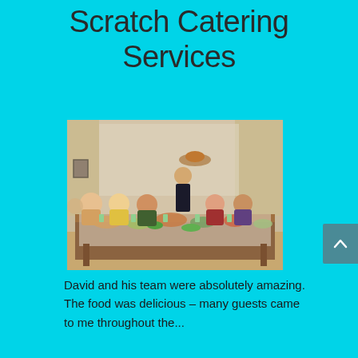Scratch Catering Services
[Figure (photo): A family or group of people seated around a large dining table filled with food, with a waiter/server standing and holding a platter with a roasted turkey or large dish above his head. The setting appears to be a home dining room with curtains in the background.]
David and his team were absolutely amazing. The food was delicious – many guests came to me throughout the...